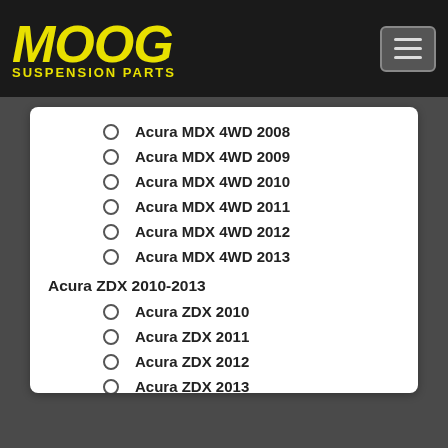MOOG SUSPENSION PARTS
Acura MDX 4WD 2008
Acura MDX 4WD 2009
Acura MDX 4WD 2010
Acura MDX 4WD 2011
Acura MDX 4WD 2012
Acura MDX 4WD 2013
Acura ZDX 2010-2013
Acura ZDX 2010
Acura ZDX 2011
Acura ZDX 2012
Acura ZDX 2013